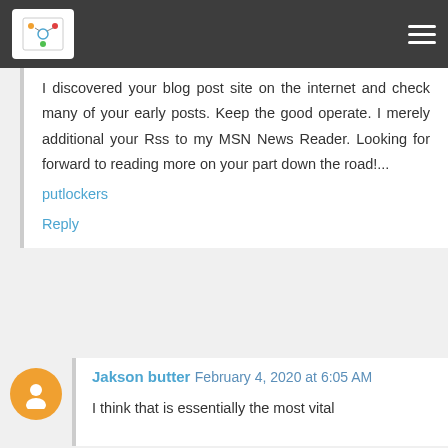I discovered your blog post site on the internet and check many of your early posts. Keep the good operate. I merely additional your Rss to my MSN News Reader. Looking for forward to reading more on your part down the road!...
putlockers
Reply
Jakson butter February 4, 2020 at 6:05 AM
I think that is essentially the most vital